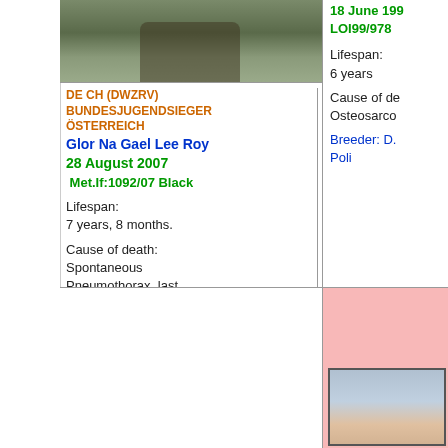[Figure (photo): Photo of a dog, partial view at top of page]
DE CH (DWZRV)
BUNDESJUGENDSIEGER
ÖSTERREICH
Glor Na Gael Lee Roy
28 August 2007
Met.If:1092/07 Black
Lifespan:
7 years, 8 months.
Cause of death: Spontaneous Pneumothorax, last ultrasound of heart two days before his death (heart healthy)
Breeder: C. & T. Juhász
18 June 199
LOI99/978
Lifespan:
6 years
Cause of de
Osteosarco
Breeder: D.
Poli
[Figure (photo): Partial photo in bottom right, pink background area]